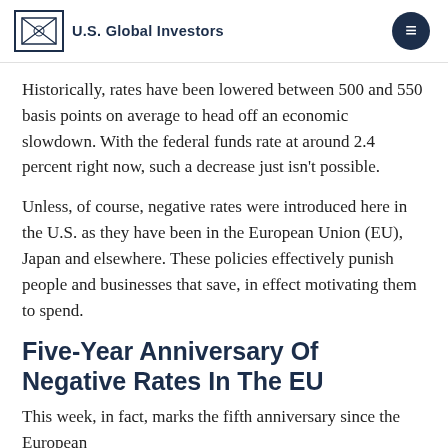U.S. Global Investors
Historically, rates have been lowered between 500 and 550 basis points on average to head off an economic slowdown. With the federal funds rate at around 2.4 percent right now, such a decrease just isn’t possible.
Unless, of course, negative rates were introduced here in the U.S. as they have been in the European Union (EU), Japan and elsewhere. These policies effectively punish people and businesses that save, in effect motivating them to spend.
Five-Year Anniversary Of Negative Rates In The EU
This week, in fact, marks the fifth anniversary since the European